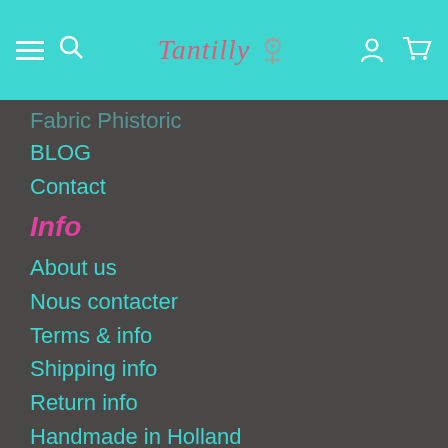Tantilly
Fabric Phistoric
BLOG
Contact
Info
About us
Nous contacter
Terms & info
Shipping info
Return info
Handmade in Holland
Sizing & washing advice
Payment options